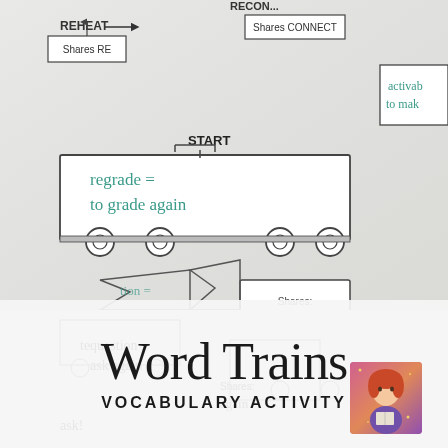[Figure (photo): Close-up photograph of a worksheet showing train-shaped vocabulary diagram. Handwritten teal/green text shows 'regrade = to grade again' in a train car shape. Another box shows 'Shares: re = again'. Labels 'REHEAT', 'Shares RE', 'Shares CONNECT', 'START', and partial 'activab to mak' visible on right. Arrow shapes connecting train cars. The worksheet is on white/grey paper.]
Word Trains
Vocabulary Activity